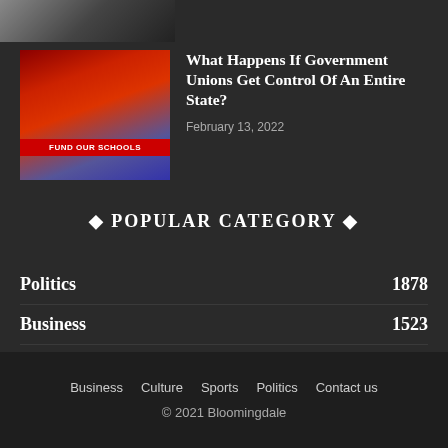[Figure (photo): Partial top image strip showing a partial face/photo in black and white]
[Figure (photo): Thumbnail of protest rally with people holding red banner saying FUND OUR SCHOOLS]
What Happens If Government Unions Get Control Of An Entire State?
February 13, 2022
◆ POPULAR CATEGORY ◆
Politics 1878
Business 1523
Sports 243
Culture 36
Business   Culture   Sports   Politics   Contact us
© 2021 Bloomingdale